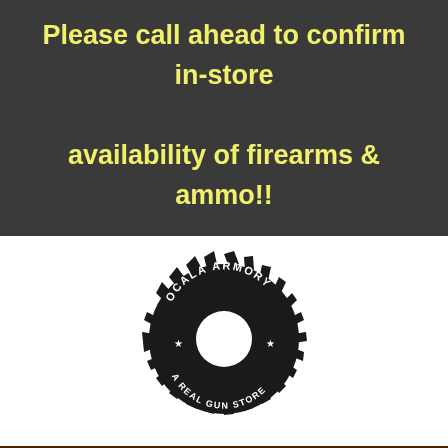Please call ahead to confirm in-store availability of firearms & ammo!!
[Figure (logo): Ocala Armory - A Real Gun Store gear/cog logo in black and white]
[Figure (screenshot): Navigation bar with search box, shopping cart icon with 0 badge, and hamburger menu icon]
Home / Personal Safety
▼ Show Filters ▼